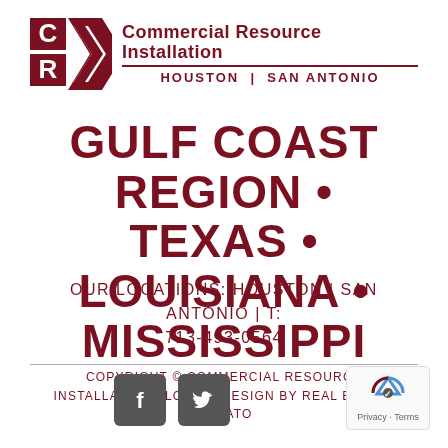[Figure (logo): CRI Commercial Resource Installation logo with Houston | San Antonio tagline]
GULF COAST REGION • TEXAS • LOUISIANA • MISSISSIPPI
OUR LOCATIONS: HOUSTON | SAN ANTONIO | T: 713-493-0564
COPYRIGHT © COMMERCIAL RESOURCE INSTALLATION | LOGIN | DESIGN BY REAL ESTATE TOMATO
[Figure (logo): Facebook and Twitter social media icons (dark square buttons)]
[Figure (other): reCAPTCHA badge with Privacy and Terms links]